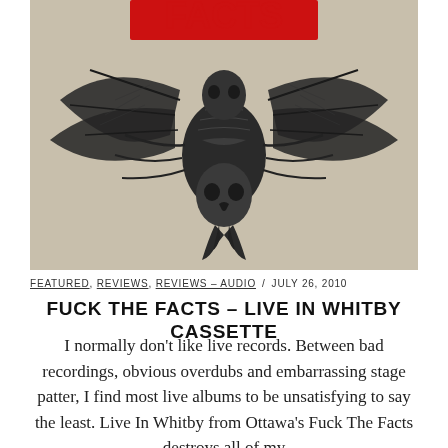[Figure (illustration): Dark ink illustration of a monstrous insect/skull creature with elaborate wing-like appendages and fangs on a beige/tan background, with red lettering at the top partially visible]
FEATURED, REVIEWS, REVIEWS - AUDIO / JULY 26, 2010
FUCK THE FACTS – LIVE IN WHITBY CASSETTE
I normally don't like live records. Between bad recordings, obvious overdubs and embarrassing stage patter, I find most live albums to be unsatisfying to say the least. Live In Whitby from Ottawa's Fuck The Facts destroys all of my